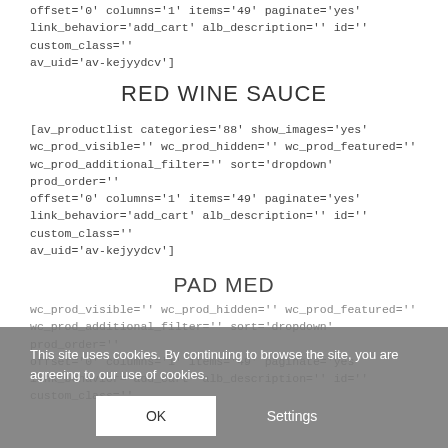offset='0' columns='1' items='49' paginate='yes' link_behavior='add_cart' alb_description=" id=" custom_class=" av_uid='av-kejyydcv']
RED WINE SAUCE
[av_productlist categories='88' show_images='yes' wc_prod_visible=" wc_prod_hidden=" wc_prod_featured=" wc_prod_additional_filter=" sort='dropdown' prod_order=" offset='0' columns='1' items='49' paginate='yes' link_behavior='add_cart' alb_description=" id=" custom_class=" av_uid='av-kejyydcv']
PAD MED
wc_prod_visible=" wc_prod_hidden=" wc_prod_featured=" wc_prod_additional_filter=" sort='dropdown' prod_order=" offset='0' columns='1' items='49' paginate='yes' link_behavior='add_cart' alb_description=" id=" custom_class="
This site uses cookies. By continuing to browse the site, you are agreeing to our use of cookies.